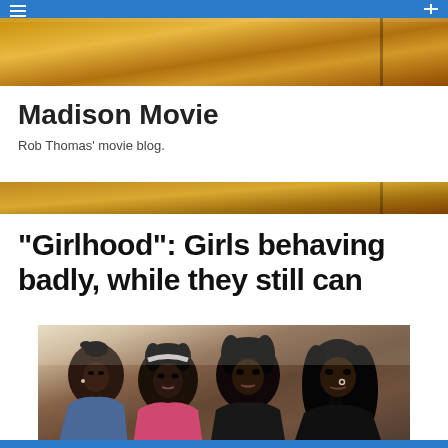Madison Movie — Rob Thomas' movie blog.
Madison Movie
Rob Thomas' movie blog.
“Girlhood”: Girls behaving badly, while they still can
[Figure (photo): Four young Black women posing together looking at camera, wearing casual jackets. Film promotional photo for 'Girlhood'.]